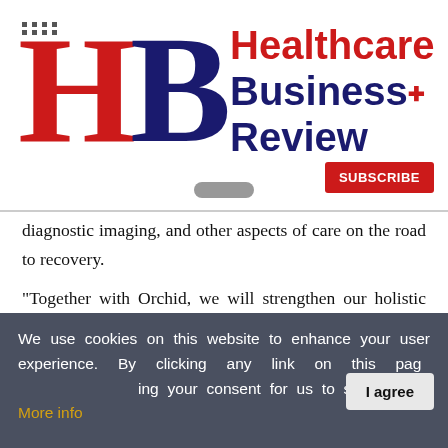[Figure (logo): Healthcare Business Review logo with red H, dark blue B letters and brand name text in red and dark blue]
diagnostic imaging, and other aspects of care on the road to recovery.
"Together with Orchid, we will strengthen our holistic approach to caring for clients' injured and ill colleagues, helping them return to maximum health and productivity," said Andrea Buhl, Sedgwick's president of managed care.
We use cookies on this website to enhance your user experience. By clicking any link on this page you are giving your consent for us to set cookies. More info